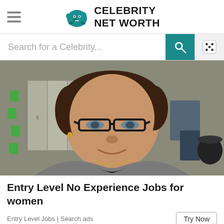Celebrity Net Worth
Search for a Celebrity...
[Figure (photo): A middle-aged woman with short dark hair and glasses, wearing a gray hoodie, taking a selfie in an industrial/factory setting with lockers and machinery visible in the background]
Entry Level No Experience Jobs for women
Entry Level Jobs | Search ads
Try Now